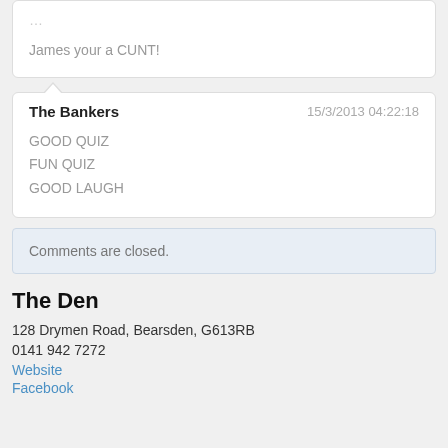James your a CUNT!
The Bankers
15/3/2013 04:22:18
GOOD QUIZ
FUN QUIZ
GOOD LAUGH
Comments are closed.
The Den
128 Drymen Road, Bearsden, G613RB
0141 942 7272
Website
Facebook